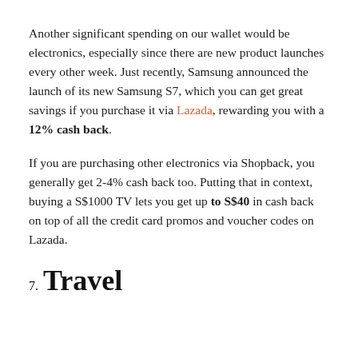Another significant spending on our wallet would be electronics, especially since there are new product launches every other week. Just recently, Samsung announced the launch of its new Samsung S7, which you can get great savings if you purchase it via Lazada, rewarding you with a 12% cash back.
If you are purchasing other electronics via Shopback, you generally get 2-4% cash back too. Putting that in context, buying a S$1000 TV lets you get up to S$40 in cash back on top of all the credit card promos and voucher codes on Lazada.
7. Travel